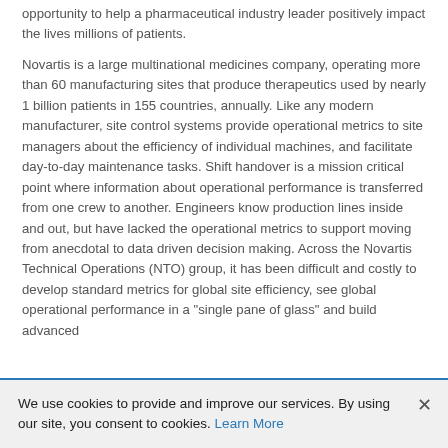opportunity to help a pharmaceutical industry leader positively impact the lives millions of patients.
Novartis is a large multinational medicines company, operating more than 60 manufacturing sites that produce therapeutics used by nearly 1 billion patients in 155 countries, annually. Like any modern manufacturer, site control systems provide operational metrics to site managers about the efficiency of individual machines, and facilitate day-to-day maintenance tasks. Shift handover is a mission critical point where information about operational performance is transferred from one crew to another. Engineers know production lines inside and out, but have lacked the operational metrics to support moving from anecdotal to data driven decision making. Across the Novartis Technical Operations (NTO) group, it has been difficult and costly to develop standard metrics for global site efficiency, see global operational performance in a "single pane of glass" and build advanced
We use cookies to provide and improve our services. By using our site, you consent to cookies. Learn More